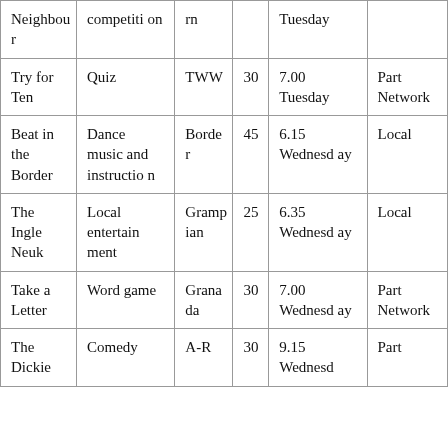| Neighbour | competition | rn |  | Tuesday |  |
| Try for Ten | Quiz | TWW | 30 | 7.00 Tuesday | Part Network |
| Beat in the Border | Dance music and instruction | Border | 45 | 6.15 Wednesday | Local |
| The Ingle Neuk | Local entertainment | Grampian | 25 | 6.35 Wednesday | Local |
| Take a Letter | Word game | Granada | 30 | 7.00 Wednesday | Part Network |
| The Dickie | Comedy | A-R | 30 | 9.15 Wednesd | Part |